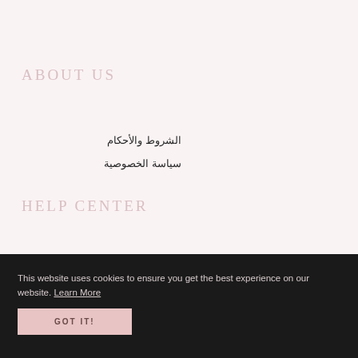ABOUT US
الشروط والأحكام
سياسة الخصوصية
HELP CENTER
This website uses cookies to ensure you get the best experience on our website. Learn More
GOT IT!